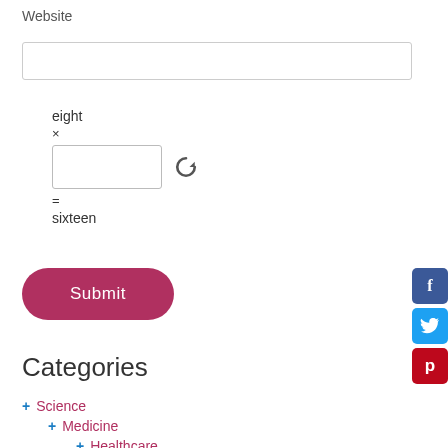Website
[Figure (screenshot): Text input field for website URL]
eight
×
= sixteen
[Figure (screenshot): CAPTCHA input field with refresh icon]
[Figure (screenshot): Submit button (red/pink rounded rectangle)]
[Figure (screenshot): Social media share icons: Facebook (blue), Twitter (light blue), Pinterest (red)]
Categories
+ Science
+ Medicine
+ Healthcare